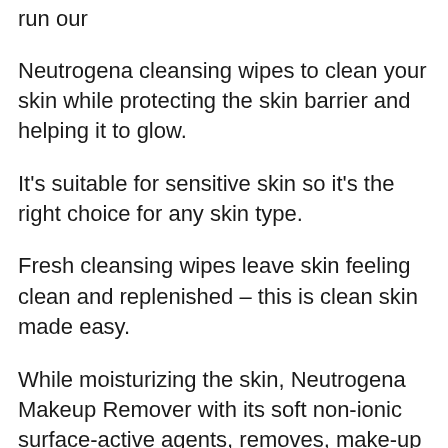run our
Neutrogena cleansing wipes to clean your skin while protecting the skin barrier and helping it to glow.
It’s suitable for sensitive skin so it’s the right choice for any skin type.
Fresh cleansing wipes leave skin feeling clean and replenished – this is clean skin made easy.
While moisturizing the skin, Neutrogena Makeup Remover with its soft non-ionic surface-active agents, removes, make-up and impurities, leaving the skin smooth and non-sticky.